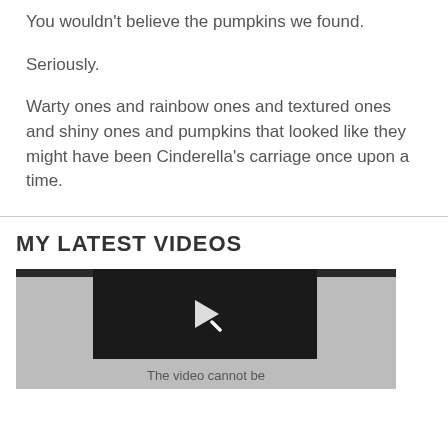You wouldn't believe the pumpkins we found.
Seriously.
Warty ones and rainbow ones and textured ones and shiny ones and pumpkins that looked like they might have been Cinderella's carriage once upon a time.
MY LATEST VIDEOS
[Figure (screenshot): Video player thumbnail showing a dark background with a play button; caption reads 'The video cannot be']